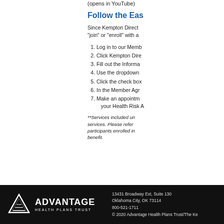(opens in YouTube)
Follow the Eas
Since Kempton Direct "join" or "enroll" with a
1. Log in to our Memb
2. Click Kempton Dire
3. Fill out the Informa
4. Use the dropdown
5. Click the check box
6. In the Member Agr
7. Make an appointment your Health Risk A
**Services included un services. Please refer participants enrolled in benefit.
13431 Broadway Ext, Suite 130 Oklahoma City, OK 73114 800-521-1711 © 2020 Advantage Health Plans Trust/The Ke